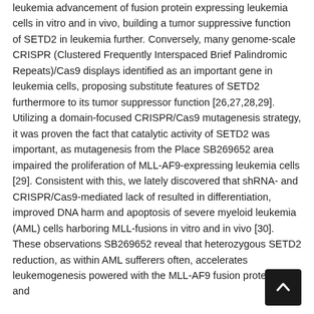leukemia advancement of fusion protein expressing leukemia cells in vitro and in vivo, building a tumor suppressive function of SETD2 in leukemia further. Conversely, many genome-scale CRISPR (Clustered Frequently Interspaced Brief Palindromic Repeats)/Cas9 displays identified as an important gene in leukemia cells, proposing substitute features of SETD2 furthermore to its tumor suppressor function [26,27,28,29]. Utilizing a domain-focused CRISPR/Cas9 mutagenesis strategy, it was proven the fact that catalytic activity of SETD2 was important, as mutagenesis from the Place SB269652 area impaired the proliferation of MLL-AF9-expressing leukemia cells [29]. Consistent with this, we lately discovered that shRNA- and CRISPR/Cas9-mediated lack of resulted in differentiation, improved DNA harm and apoptosis of severe myeloid leukemia (AML) cells harboring MLL-fusions in vitro and in vivo [30]. These observations SB269652 reveal that heterozygous SETD2 reduction, as within AML sufferers often, accelerates leukemogenesis powered with the MLL-AF9 fusion proteins, and
[Figure (other): Back to top navigation button — dark square with upward-pointing chevron arrow]